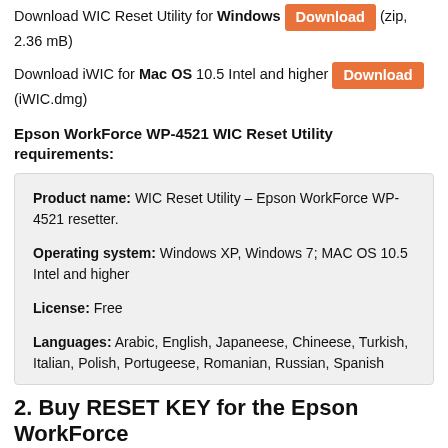Download WIC Reset Utility for Windows Download (zip, 2.36 mB)
Download iWIC for Mac OS 10.5 Intel and higher Download (iWIC.dmg)
Epson WorkForce WP-4521 WIC Reset Utility requirements:
Product name: WIC Reset Utility – Epson WorkForce WP-4521 resetter.

Operating system: Windows XP, Windows 7; MAC OS 10.5 Intel and higher

License: Free

Languages: Arabic, English, Japaneese, Chineese, Turkish, Italian, Polish, Portugeese, Romanian, Russian, Spanish
2. Buy RESET KEY for the Epson WorkForce